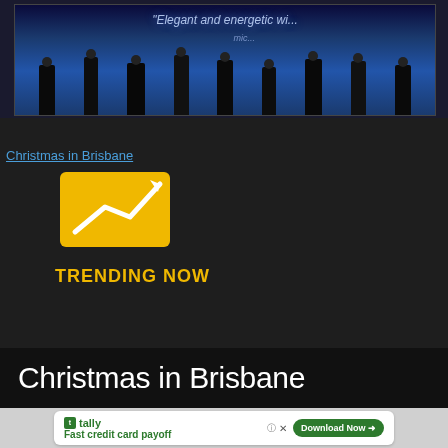[Figure (photo): Stage performance photo showing dancers/performers on a stage with blue lighting. Text overlay reads 'Elegant and energetic wi...' and 'mic...']
Christmas in Brisbane
[Figure (infographic): Trending Now icon: yellow upward-trending arrow chart icon above bold yellow text reading 'TRENDING NOW']
Christmas in Brisbane
Fast credit card payoff   Download Now